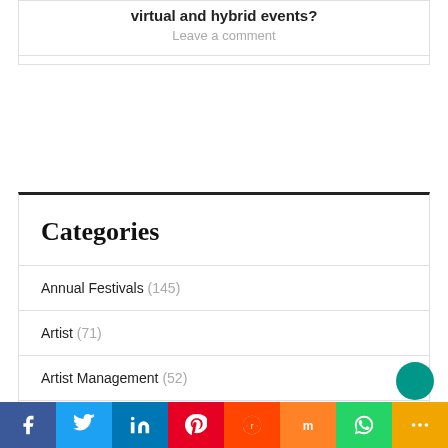virtual and hybrid events?
Leave a comment
Categories
Annual Festivals (145)
Artist (71)
Artist Management (52)
Brand Promotion (52)
Catering (18)